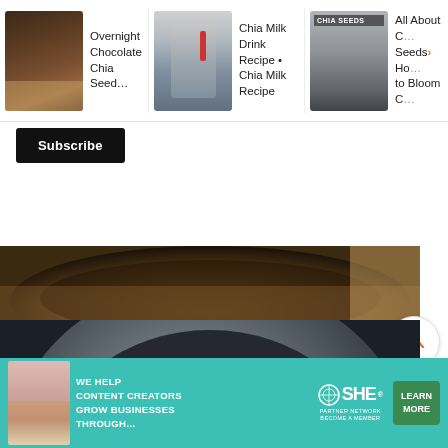[Figure (screenshot): Website screenshot showing recipe cards carousel at top with three items: Overnight Chocolate Chia Seed..., Chia Milk Drink Recipe • Chia Milk Recipe, All About Chia Seeds - How to Bloom C...]
Overnight Chocolate Chia Seed...
Chia Milk Drink Recipe • Chia Milk Recipe
All About Chia Seeds > How to Bloom C...
Subscribe
[Figure (photo): Close-up photo of a bowl with chia seeds mixture, dark tones, wooden surface visible]
9)Mix well
[Figure (photo): Close-up photo of a steel bowl with chia seed mixture being mixed, dark contents visible]
[Figure (infographic): Advertisement banner: SHE Partner Network - We help content creators grow businesses through... Learn More]
WE HELP CONTENT CREATORS GROW BUSINESSES THROUGH...
SHE PARTNER NETWORK BECOME A MEMBER
LEARN MORE
215